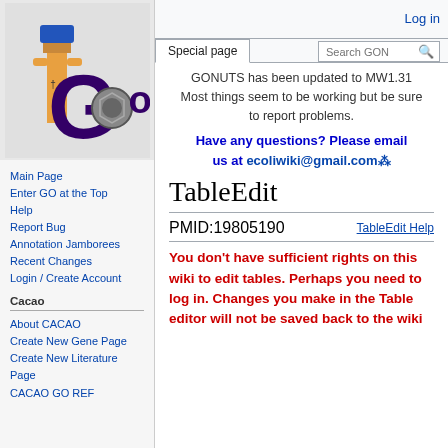[Figure (logo): GONUTS wiki logo with Egyptian figure and 'GO' text with nuts/bolts]
Main Page
Enter GO at the Top
Help
Report Bug
Annotation Jamborees
Recent Changes
Login / Create Account
Cacao
About CACAO
Create New Gene Page
Create New Literature Page
CACAO GO REF
Log in
Special page
GONUTS has been updated to MW1.31 Most things seem to be working but be sure to report problems.
Have any questions? Please email us at ecoliwiki@gmail.com
TableEdit
PMID:19805190	TableEdit Help
You don't have sufficient rights on this wiki to edit tables. Perhaps you need to log in. Changes you make in the Table editor will not be saved back to the wiki